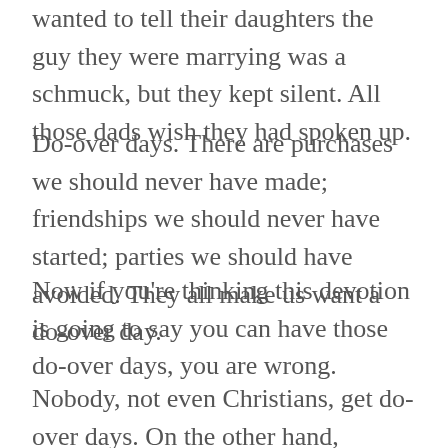wanted to tell their daughters the guy they were marrying was a schmuck, but they kept silent. All those dads wish they had spoken up.
Do-over days. There are purchases we should never have made; friendships we should never have started; parties we should have avoided. They all make us want a do-over day.
Now if you're thinking this devotion is going to say you can have those do-over days, you are wrong.
Nobody, not even Christians, get do-over days. On the other hand, because of Jesus we get